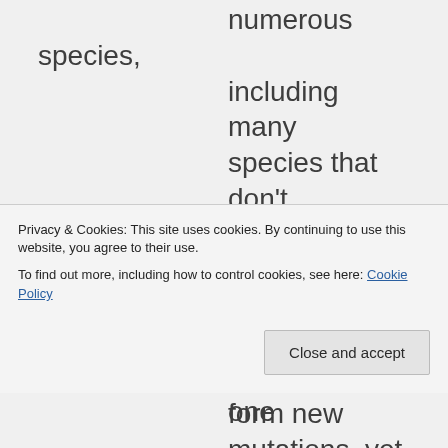numerous species, including many species that don't hybridize in nature. Additionally, we use radiation to form new mutations, yet none of that is considered to be a GMO. GMOs are, however, not fundamentally
Privacy & Cookies: This site uses cookies. By continuing to use this website, you agree to their use. To find out more, including how to control cookies, see here: Cookie Policy
genes from one